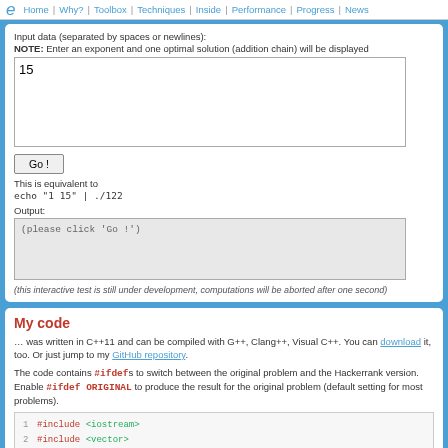Home | Why? | Toolbox | Techniques | Inside | Performance | Progress | News
Input data (separated by spaces or newlines):
NOTE: Enter an exponent and one optimal solution (addition chain) will be displayed
15
Go !
This is equivalent to
echo "1 15" | ./122
Output:
(please click 'Go !')
(this interactive test is still under development, computations will be aborted after one second)
My code
… was written in C++11 and can be compiled with G++, Clang++, Visual C++. You can download it, too. Or just jump to my GitHub repository.
The code contains #ifdef's to switch between the original problem and the Hackerrank version. Enable #ifdef ORIGINAL to produce the result for the original problem (default setting for most problems).
1  #include <iostream>
2  #include <vector>
3  #include <map>
4
5  //define ORIGINAL